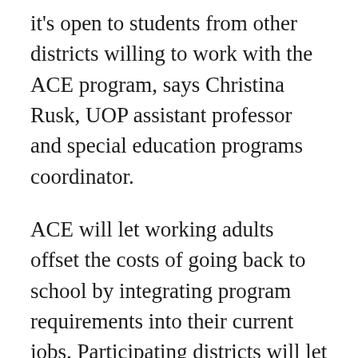it's open to students from other districts willing to work with the ACE program, says Christina Rusk, UOP assistant professor and special education programs coordinator.
ACE will let working adults offset the costs of going back to school by integrating program requirements into their current jobs. Participating districts will let them do their in-class observation and student teaching, under the guidance of a mentor teacher, in the classroom where they already work. Courses will be offered in the evening and